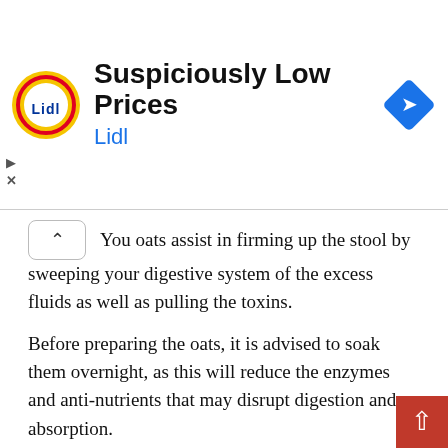[Figure (screenshot): Lidl advertisement banner with Lidl logo (yellow circle with Lidl text), headline 'Suspiciously Low Prices', sponsor name 'Lidl' in blue, and a blue diamond navigation arrow icon on the right. Play and close (X) icons on the left.]
You oats assist in firming up the stool by sweeping your digestive system of the excess fluids as well as pulling the toxins.
Before preparing the oats, it is advised to soak them overnight, as this will reduce the enzymes and anti-nutrients that may disrupt digestion and absorption.
Sweet Potatoes
Health experts agree that sweet potatoes are a delicious vegetable that comes with a high nutritional value. This versatile vegetable is packed with potent anti-inflammatory properties, a high